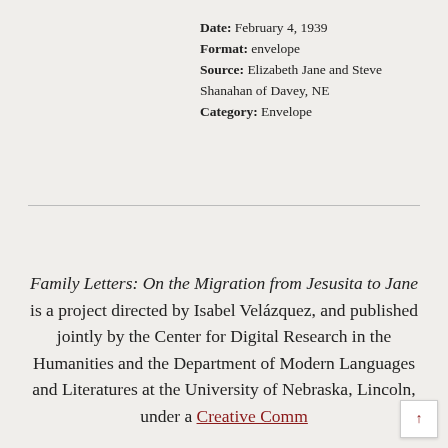Date: February 4, 1939
Format: envelope
Source: Elizabeth Jane and Steve Shanahan of Davey, NE
Category: Envelope
Family Letters: On the Migration from Jesusita to Jane is a project directed by Isabel Velázquez, and published jointly by the Center for Digital Research in the Humanities and the Department of Modern Languages and Literatures at the University of Nebraska, Lincoln, under a Creative Comm